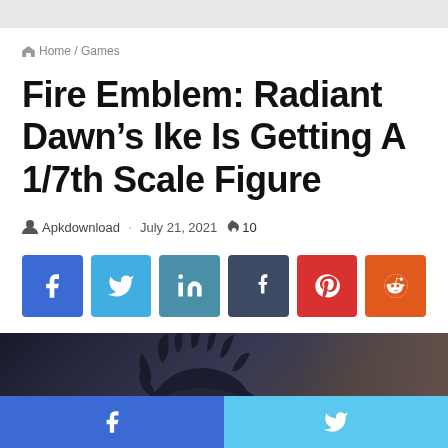Home / Games
Fire Emblem: Radiant Dawn’s Ike Is Getting A 1/7th Scale Figure
Apkdownload · July 21, 2021 🔥 10
[Figure (infographic): Social share buttons: Facebook, Twitter, LinkedIn, Tumblr, Pinterest, Reddit]
[Figure (photo): Close-up photo of an anime/game figure with dark spiky hair, blurred background]
Facebook share button | Twitter share button